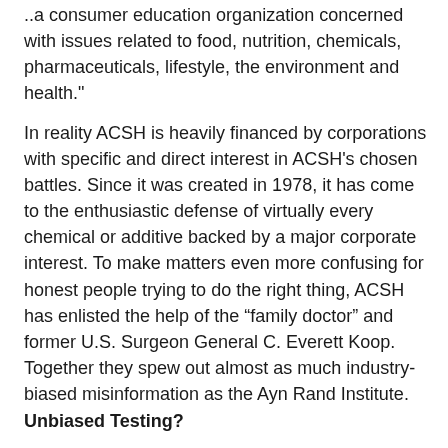..a consumer education organization concerned with issues related to food, nutrition, chemicals, pharmaceuticals, lifestyle, the environment and health."
In reality ACSH is heavily financed by corporations with specific and direct interest in ACSH's chosen battles. Since it was created in 1978, it has come to the enthusiastic defense of virtually every chemical or additive backed by a major corporate interest. To make matters even more confusing for honest people trying to do the right thing, ACSH has enlisted the help of the “family doctor” and former U.S. Surgeon General C. Everett Koop. Together they spew out almost as much industry-biased misinformation as the Ayn Rand Institute.
Unbiased Testing?